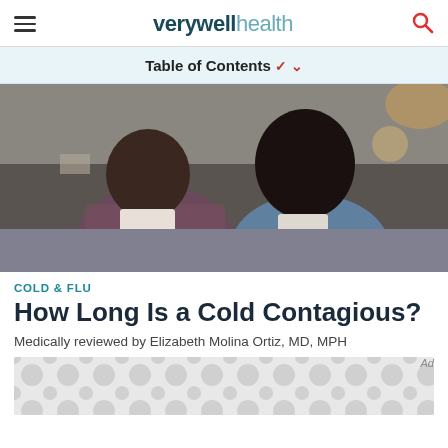verywell health
Table of Contents ✓
[Figure (photo): A man and a woman sitting on a couch, both blowing their noses into tissues, appearing ill with a cold or flu.]
COLD & FLU
How Long Is a Cold Contagious?
Medically reviewed by Elizabeth Molina Ortiz, MD, MPH
[Figure (other): Advertisement placeholder with grey dot/circle pattern background.]